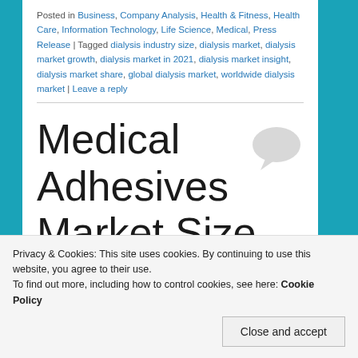Posted in Business, Company Analysis, Health & Fitness, Health Care, Information Technology, Life Science, Medical, Press Release | Tagged dialysis industry size, dialysis market, dialysis market growth, dialysis market in 2021, dialysis market insight, dialysis market share, global dialysis market, worldwide dialysis market | Leave a reply
Medical Adhesives Market Size is
Privacy & Cookies: This site uses cookies. By continuing to use this website, you agree to their use. To find out more, including how to control cookies, see here: Cookie Policy